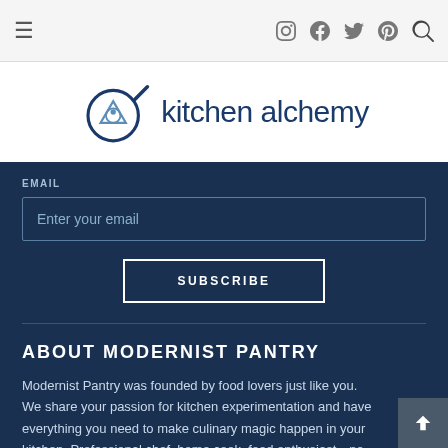Navigation bar with hamburger menu and social icons (Instagram, Facebook, Twitter, Pinterest, Search)
[Figure (logo): Kitchen Alchemy logo: frying pan with alchemical triangle symbol and text 'kitchen alchemy']
EMAIL
Enter your email
SUBSCRIBE
ABOUT MODERNIST PANTRY
Modernist Pantry was founded by food lovers just like you. We share your passion for kitchen experimentation and have everything you need to make culinary magic happen in your kitchen. Professional chef, home cook, food enthusiast—no matter your skill or experience, Modernist Pantry has something for you. We make it easy to get the